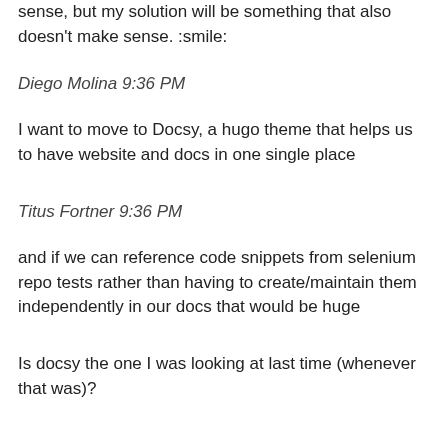sense, but my solution will be something that also doesn't make sense. :smile:
Diego Molina 9:36 PM
I want to move to Docsy, a hugo theme that helps us to have website and docs in one single place
Titus Fortner 9:36 PM
and if we can reference code snippets from selenium repo tests rather than having to create/maintain them independently in our docs that would be huge
Is docsy the one I was looking at last time (whenever that was)?
Simon Stewart 9:36 PM
@diemol can the move to docsy be done at the same time as the docs themselves are updated?